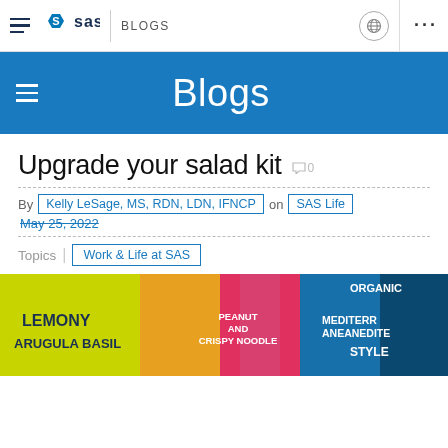SAS BLOGS — navigation bar with SAS logo, globe icon, and menu dots
Blogs
Upgrade your salad kit
By Kelly LeSage, MS, RDN, LDN, IFNCP on SAS Life
May 25, 2022
Topics | Work & Life at SAS
[Figure (photo): Colorful salad kit packages including Lemony Arugula Basil, Peanut and Crispy Noodle, and Organic Mediterranean Style varieties]